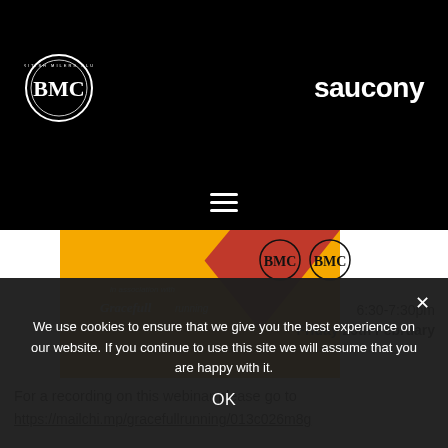[Figure (logo): British Milers Club circular logo with BMC letters in white on black background, with text 'BRITISH MILERS CLUB' around the circle]
[Figure (logo): Saucony brand name in white bold text on black background]
[Figure (screenshot): Hamburger menu icon (three horizontal white lines) centered on black background]
[Figure (infographic): Webinar banner with yellow and red diagonal shapes, 'in association with' text and Gracefull running script logo on the left, two BMC logo icons in top right, and '6:30-7:30pm Friday 25th February' text on right side]
For a recording on this webinar please go to
https://mailchi.mp/gracefullrunning/013c026m8g
We use cookies to ensure that we give you the best experience on our website. If you continue to use this site we will assume that you are happy with it.
OK